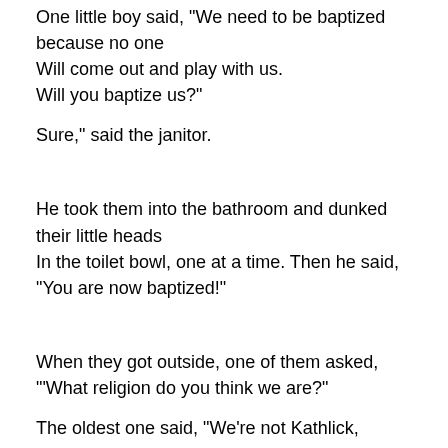One little boy said, "We need to be baptized because no one
Will come out and play with us.
Will you baptize us?"
Sure," said the janitor.
He took them into the bathroom and dunked their little heads
In the toilet bowl, one at a time. Then he said, "You are now baptized!"
When they got outside, one of them asked,
"'What religion do you think we are?"
The oldest one said, "We're not Kathlick,